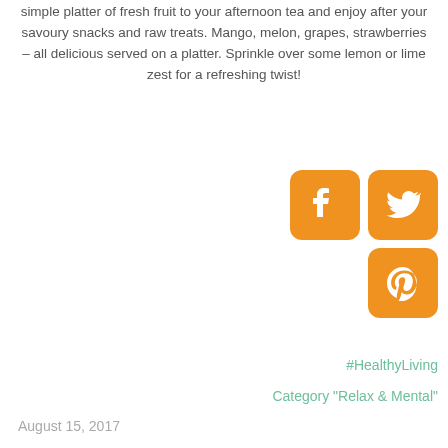simple platter of fresh fruit to your afternoon tea and enjoy after your savoury snacks and raw treats. Mango, melon, grapes, strawberries – all delicious served on a platter. Sprinkle over some lemon or lime zest for a refreshing twist!
[Figure (other): Social media share icons: Facebook (orange rounded square), Twitter (orange rounded square), Pinterest (orange rounded square)]
#HealthyLiving
Category "Relax & Mental"
August 15, 2017
Next Post